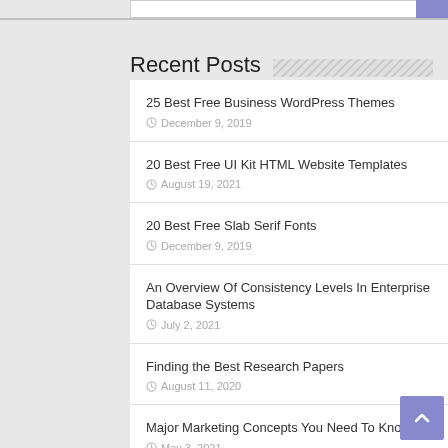Recent Posts
25 Best Free Business WordPress Themes
December 9, 2019
20 Best Free UI Kit HTML Website Templates
August 19, 2021
20 Best Free Slab Serif Fonts
December 9, 2019
An Overview Of Consistency Levels In Enterprise Database Systems
July 2, 2021
Finding the Best Research Papers
August 11, 2020
Major Marketing Concepts You Need To Know
May 3, 2021
5 Best Free Church WordPress Themes 2022